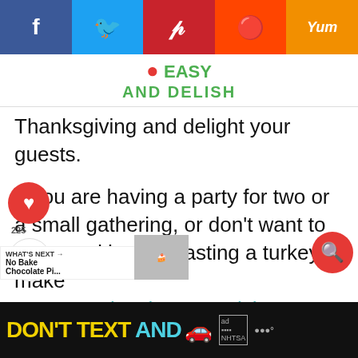[Figure (screenshot): Social sharing bar with Facebook, Twitter, Pinterest, Reddit, and Yummly buttons]
[Figure (logo): Easy and Delish logo in green text]
Thanksgiving and delight your guests.
If you are having a party for two or a small gathering, or don't want to spend hours roasting a turkey, make r Apple Glaze Cornish Hen with Toasted Herb Dressing and save time gy. You won't even have to worry about the infamous leftovers.
[Figure (screenshot): NHTSA Don't Text and Drive advertisement banner at bottom]
[Figure (other): What's Next widget showing No Bake Chocolate Pi...]